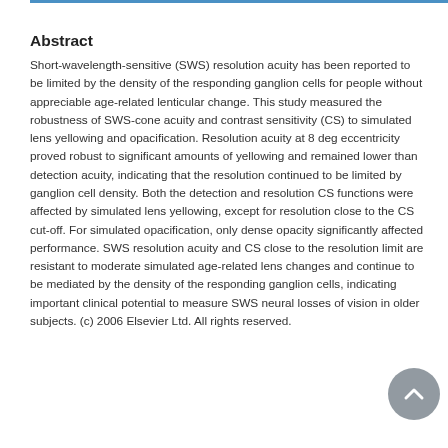Abstract
Short-wavelength-sensitive (SWS) resolution acuity has been reported to be limited by the density of the responding ganglion cells for people without appreciable age-related lenticular change. This study measured the robustness of SWS-cone acuity and contrast sensitivity (CS) to simulated lens yellowing and opacification. Resolution acuity at 8 deg eccentricity proved robust to significant amounts of yellowing and remained lower than detection acuity, indicating that the resolution continued to be limited by ganglion cell density. Both the detection and resolution CS functions were affected by simulated lens yellowing, except for resolution close to the CS cut-off. For simulated opacification, only dense opacity significantly affected performance. SWS resolution acuity and CS close to the resolution limit are resistant to moderate simulated age-related lens changes and continue to be mediated by the density of the responding ganglion cells, indicating important clinical potential to measure SWS neural losses of vision in older subjects. (c) 2006 Elsevier Ltd. All rights reserved.